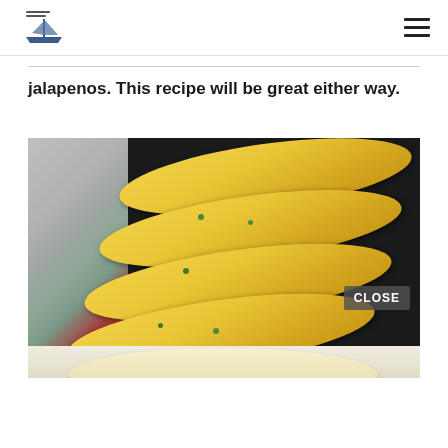Food blog website header with logo and hamburger menu
jalapenos. This recipe will be great either way.
[Figure (photo): Cornbread sticks in a black cast iron cornbread pan, showing four golden-yellow oblong cornbread pieces with green jalapeño bits visible, with a colorful dish towel visible in the background. A 'CLOSE' button overlay appears in the lower right of the image. Below is a partial second image showing another cornbread piece.]